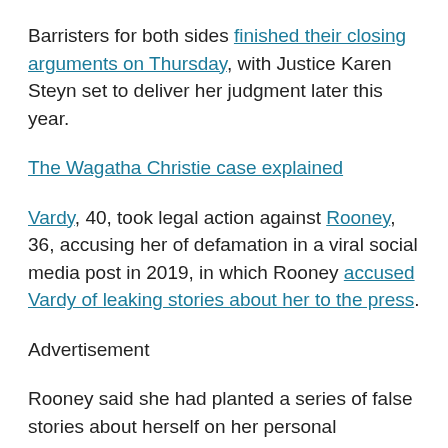Barristers for both sides finished their closing arguments on Thursday, with Justice Karen Steyn set to deliver her judgment later this year.
The Wagatha Christie case explained
Vardy, 40, took legal action against Rooney, 36, accusing her of defamation in a viral social media post in 2019, in which Rooney accused Vardy of leaking stories about her to the press.
Advertisement
Rooney said she had planted a series of false stories about herself on her personal Instagram stories account (which disappeared after 24 hours) but changed the settings so